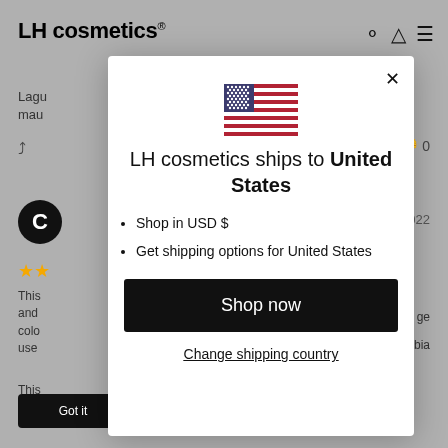[Figure (screenshot): Greyed-out background showing LH cosmetics website with header, review section, and partially visible text]
[Figure (illustration): US flag emoji/icon displayed inside the modal dialog]
LH cosmetics ships to United States
Shop in USD $
Get shipping options for United States
Shop now
Change shipping country